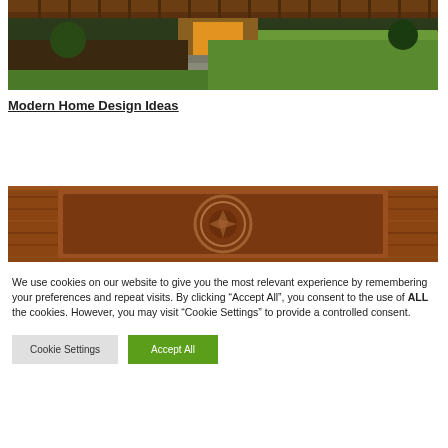[Figure (photo): Outdoor garden/backyard scene with a modern home, green lawn, stone pavers, and warm lighting at dusk]
Modern Home Design Ideas
[Figure (photo): Close-up of a decorative wooden carved panel or door with ornate circular motif, warm brown tones]
We use cookies on our website to give you the most relevant experience by remembering your preferences and repeat visits. By clicking “Accept All”, you consent to the use of ALL the cookies. However, you may visit “Cookie Settings” to provide a controlled consent.